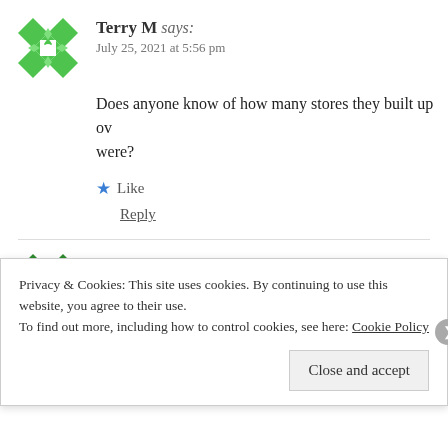[Figure (illustration): Green geometric avatar icon for user Terry M]
Terry M says:
July 25, 2021 at 5:56 pm
Does anyone know of how many stores they built up ov were?
★ Like
Reply
[Figure (illustration): Green geometric avatar icon for user Ian]
Ian says:
Privacy & Cookies: This site uses cookies. By continuing to use this website, you agree to their use.
To find out more, including how to control cookies, see here: Cookie Policy
Close and accept